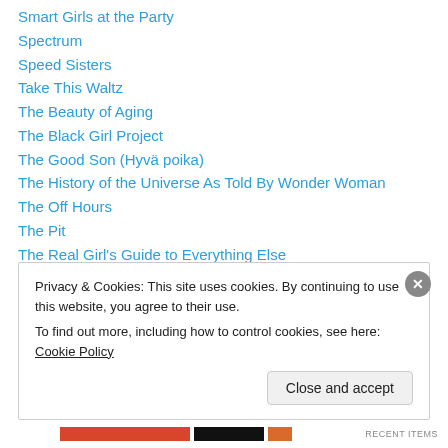Smart Girls at the Party
Spectrum
Speed Sisters
Take This Waltz
The Beauty of Aging
The Black Girl Project
The Good Son (Hyvä poika)
The History of the Universe As Told By Wonder Woman
The Off Hours
The Pit
The Real Girl's Guide to Everything Else
The Room at the Top of the Stairs
The Saving
Privacy & Cookies: This site uses cookies. By continuing to use this website, you agree to their use. To find out more, including how to control cookies, see here: Cookie Policy
Close and accept